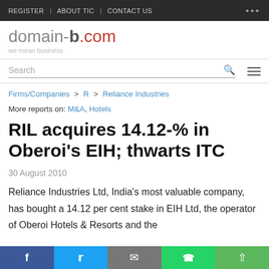REGISTER | ABOUT TIC | CONTACT US
[Figure (logo): domain-b.com logo with tagline 'we mean business']
Firms/Companies > R > Reliance Industries
More reports on: M&A, Hotels
RIL acquires 14.12-% in Oberoi's EIH; thwarts ITC
30 August 2010
Reliance Industries Ltd, India's most valuable company, has bought a 14.12 per cent stake in EIH Ltd, the operator of Oberoi Hotels & Resorts and the